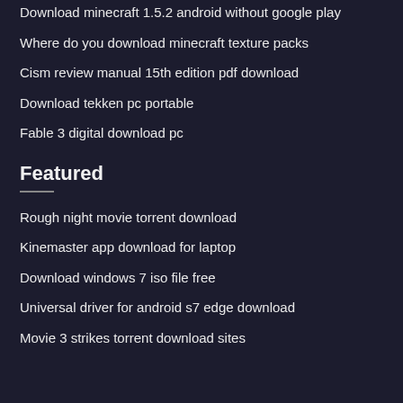Download minecraft 1.5.2 android without google play
Where do you download minecraft texture packs
Cism review manual 15th edition pdf download
Download tekken pc portable
Fable 3 digital download pc
Featured
Rough night movie torrent download
Kinemaster app download for laptop
Download windows 7 iso file free
Universal driver for android s7 edge download
Movie 3 strikes torrent download sites
Popular Posts